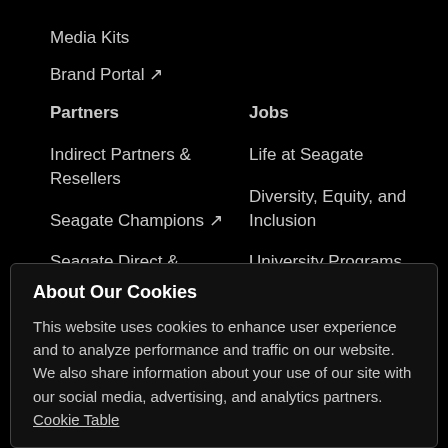Media Kits
Brand Portal ↗
Partners
Jobs
Indirect Partners & Resellers
Life at Seagate
Seagate Champions ↗
Diversity, Equity, and Inclusion
Seagate Direct & Suppliers
University Programs
Seagate Technology Alliance Program
About Our Cookies
This website uses cookies to enhance user experience and to analyze performance and traffic on our website. We also share information about your use of our site with our social media, advertising, and analytics partners. Cookie Table